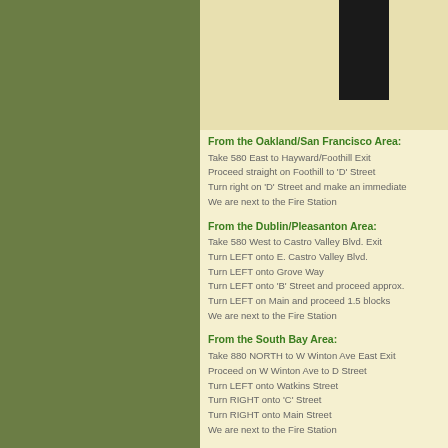[Figure (other): Partial image with black rectangle on light background]
From the Oakland/San Francisco Area:
Take 580 East to Hayward/Foothill Exit
Proceed straight on Foothill to 'D' Street
Turn right on 'D' Street and make an immediate
We are next to the Fire Station
From the Dublin/Pleasanton Area:
Take 580 West to Castro Valley Blvd. Exit
Turn LEFT onto E. Castro Valley Blvd.
Turn LEFT onto Grove Way
Turn LEFT onto 'B' Street and proceed approx.
Turn LEFT on Main and proceed 1.5 blocks
We are next to the Fire Station
From the South Bay Area:
Take 880 NORTH to W Winton Ave East Exit
Proceed on W Winton Ave to D Street
Turn LEFT onto Watkins Street
Turn RIGHT onto 'C' Street
Turn RIGHT onto Main Street
We are next to the Fire Station
From the Peninsula:
Take the San Mateo Bridge East (Hwy 92 Eas